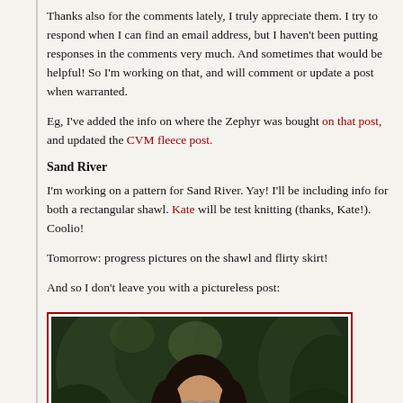Thanks also for the comments lately, I truly appreciate them. I try to respond when I can find an email address, but I haven't been putting responses in the comments very much. And sometimes that would be helpful! So I'm working on that, and will comment or update a post when warranted.
Eg, I've added the info on where the Zephyr was bought on that post, and updated the CVM fleece post.
Sand River
I'm working on a pattern for Sand River. Yay! I'll be including info for both a rectangular shawl. Kate will be test knitting (thanks, Kate!). Coolio!
Tomorrow: progress pictures on the shawl and flirty skirt!
And so I don't leave you with a pictureless post:
[Figure (photo): Photo of a smiling Asian woman with glasses and long dark hair, standing outdoors in front of green trees/forest background.]